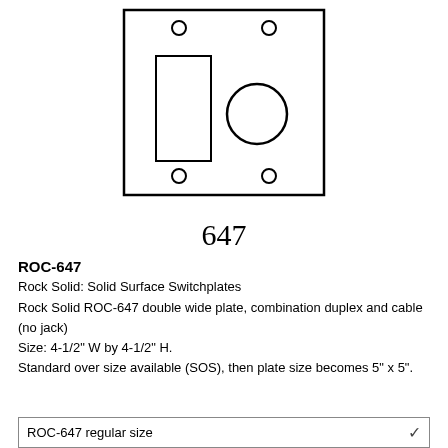[Figure (schematic): Technical schematic drawing of ROC-647 double wide switchplate showing a rectangular plate outline with two mounting holes at top, two mounting holes at bottom, a toggle switch opening on the left side, and a circular cable opening on the right side. The number 647 appears below the plate in serif font.]
647
ROC-647
Rock Solid: Solid Surface Switchplates
Rock Solid ROC-647 double wide plate, combination duplex and cable (no jack)
Size: 4-1/2" W by 4-1/2" H.
Standard over size available (SOS), then plate size becomes 5" x 5".
ROC-647 regular size